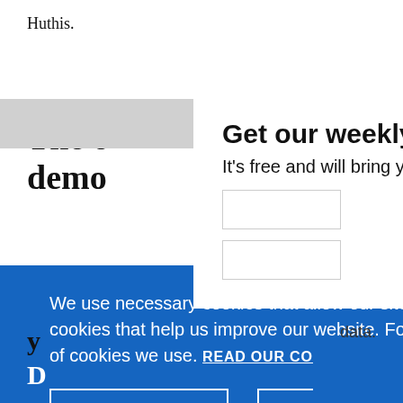Huthis.
The o
demo
[Figure (screenshot): Email signup modal overlay with heading 'Get our weekly email', subtext 'It’s free and will bring you the best from', and a close (x) button in the top right corner]
We use necessary cookies that allow our site to work. We also set optional cookies that help us improve our website. For more information about the types of cookies we use. READ OUR COOKIES POLICY HERE
COOKIE SETTINGS
ALLOW ALL COOKIES
data.